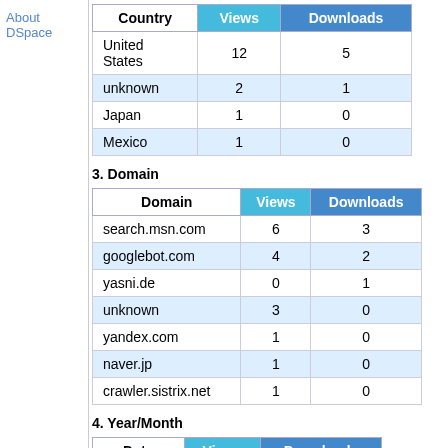About DSpace
| Country | Views | Downloads |
| --- | --- | --- |
| United States | 12 | 5 |
| unknown | 2 | 1 |
| Japan | 1 | 0 |
| Mexico | 1 | 0 |
3. Domain
| Domain | Views | Downloads |
| --- | --- | --- |
| search.msn.com | 6 | 3 |
| googlebot.com | 4 | 2 |
| yasni.de | 0 | 1 |
| unknown | 3 | 0 |
| yandex.com | 1 | 0 |
| naver.jp | 1 | 0 |
| crawler.sistrix.net | 1 | 0 |
4. Year/Month
| Date | Views | Downloads |
| --- | --- | --- |
| 2013-04 | 16 | 6 |